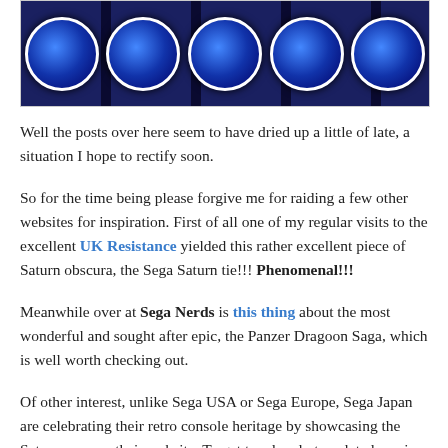[Figure (photo): Cropped image of Sega Saturn themed ties/fabric with blue and black pattern with white-outlined logos]
Well the posts over here seem to have dried up a little of late, a situation I hope to rectify soon.
So for the time being please forgive me for raiding a few other websites for inspiration. First of all one of my regular visits to the excellent UK Resistance yielded this rather excellent piece of Saturn obscura, the Sega Saturn tie!!! Phenomenal!!!
Meanwhile over at Sega Nerds is this thing about the most wonderful and sought after epic, the Panzer Dragoon Saga, which is well worth checking out.
Of other interest, unlike Sega USA or Sega Europe, Sega Japan are celebrating their retro console heritage by showcasing the Saturn over on their website. To get to a lovely translated version of that particular site look here